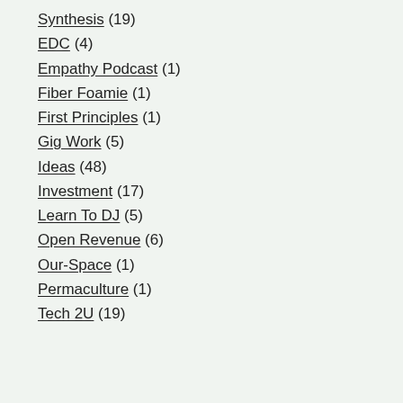Synthesis (19)
EDC (4)
Empathy Podcast (1)
Fiber Foamie (1)
First Principles (1)
Gig Work (5)
Ideas (48)
Investment (17)
Learn To DJ (5)
Open Revenue (6)
Our-Space (1)
Permaculture (1)
Tech 2U (19)